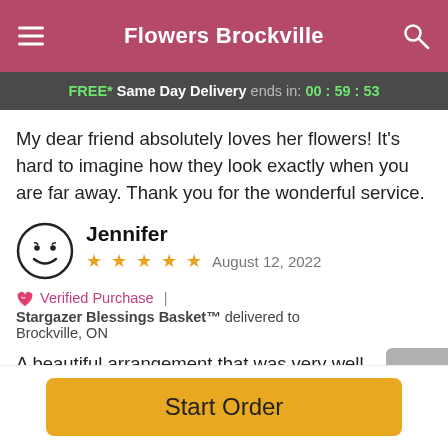Flowers Brockville
FREE* Same Day Delivery ends in: 00:59:53
My dear friend absolutely loves her flowers! It's hard to imagine how they look exactly when you are far away. Thank you for the wonderful service.
Jennifer
★★★★★  August 12, 2022
💝 Verified Purchase | Stargazer Blessings Basket™ delivered to Brockville, ON
A beautiful arrangement that was very well received and appreciated from close friends who have dealt with
Start Order